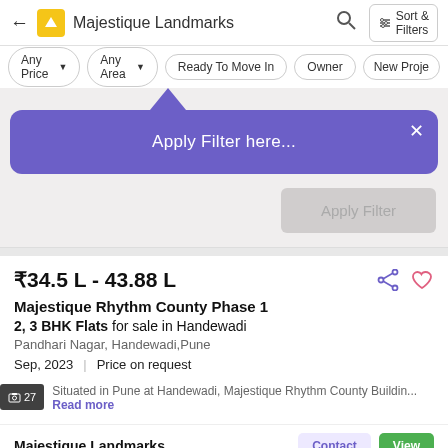Majestique Landmarks
Any Price | Any Area | Ready To Move In | Owner | New Proje
Apply Filter here...
Apply Filter
₹34.5 L - 43.88 L
Majestique Rhythm County Phase 1
2, 3 BHK Flats for sale in Handewadi
Pandhari Nagar, Handewadi,Pune
Sep, 2023 | Price on request
Situated in Pune at Handewadi, Majestique Rhythm County Buildin... Read more
Majestique Landmarks